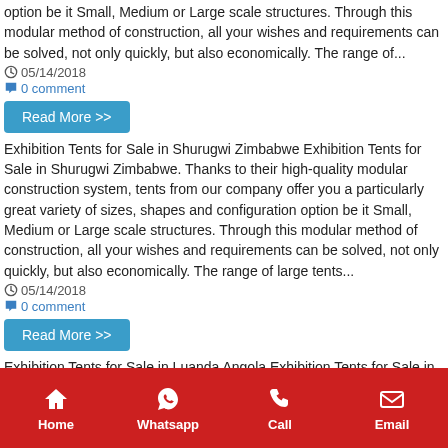option be it Small, Medium or Large scale structures. Through this modular method of construction, all your wishes and requirements can be solved, not only quickly, but also economically. The range of...
05/14/2018
0 comment
Read More >>
Exhibition Tents for Sale in Shurugwi Zimbabwe Exhibition Tents for Sale in Shurugwi Zimbabwe. Thanks to their high-quality modular construction system, tents from our company offer you a particularly great variety of sizes, shapes and configuration option be it Small, Medium or Large scale structures. Through this modular method of construction, all your wishes and requirements can be solved, not only quickly, but also economically. The range of large tents...
05/14/2018
0 comment
Read More >>
Exhibition Tents for Sale in Luanda Angola Exhibition Tents for Sale in Luanda Angola. Thanks to their high-quality modular construction
Home  Whatsapp  Call  Email